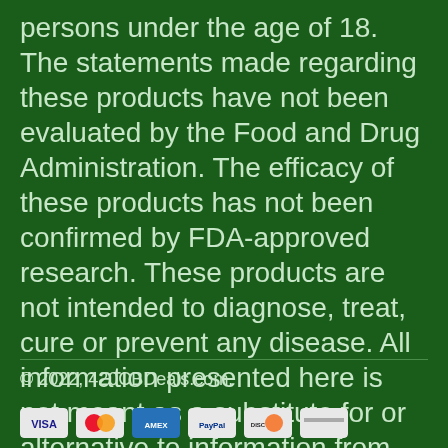persons under the age of 18. The statements made regarding these products have not been evaluated by the Food and Drug Administration. The efficacy of these products has not been confirmed by FDA-approved research. These products are not intended to diagnose, treat, cure or prevent any disease. All information presented here is not meant as a substitute for or alternative to information from health care practitioners. Please consult your health care professional about potential interactions or other possible complications before using any product. The Federal Food, Drug and Cosmetic Act requires this notice.
© 2022, 420CBDeals.com.